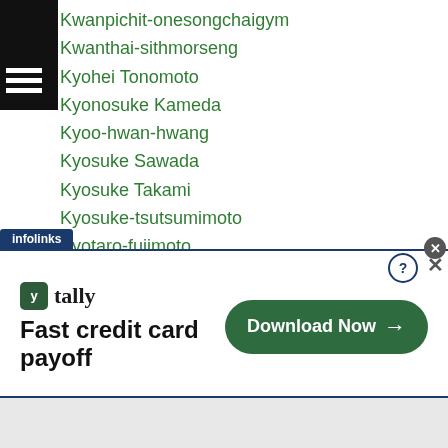Kwanpichit-onesongchaigym
Kwanthai-sithmorseng
Kyohei Tonomoto
Kyonosuke Kameda
Kyoo-hwan-hwang
Kyosuke Sawada
Kyosuke Takami
Kyosuke-tsutsumimoto
Kyotaro-fujimoto
Kyotaro Yoshida
Kyung-min-hwang
Kyung-min-kwon
Lalrinsanga-tlau
Lanhai-xiao
Lap-cheong-cheong
…iwu
[Figure (screenshot): Infolinks advertisement banner for Tally app: 'Fast credit card payoff' with Download Now button]